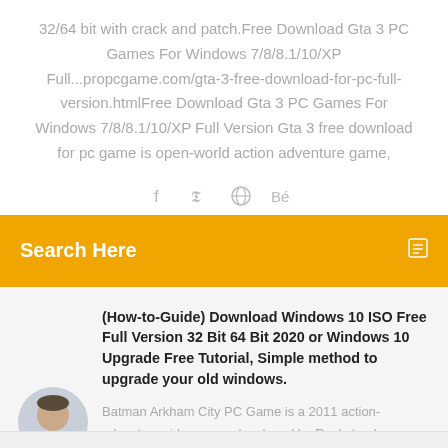32/64 bit with crack and patch.Free Download Gta 3 PC Games For Windows 7/8/8.1/10/XP Full...propcgame.com/gta-3-free-download-for-pc-full-version.htmlFree Download Gta 3 PC Games For Windows 7/8/8.1/10/XP Full Version Gta 3 free download for pc game is open-world action adventure game,
[Figure (illustration): Social media sharing icons: Facebook, Twitter, globe/share, Behance]
Search Here
[Figure (photo): Circular avatar photo of a man]
(How-to-Guide) Download Windows 10 ISO Free Full Version 32 Bit 64 Bit 2020 or Windows 10 Upgrade Free Tutorial, Simple method to upgrade your old windows.
Batman Arkham City PC Game is a 2011 action-adventure video game developed by Rocksteady Studios and released by Warner Bros.